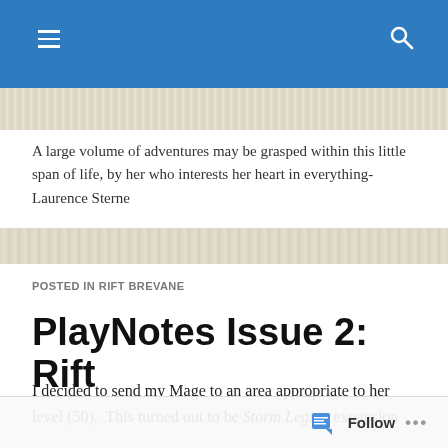Navigation bar with hamburger menu and search icon
A large volume of adventures may be grasped within this little span of life, by her who interests her heart in everything-Laurence Sterne
POSTED IN RIFT BREVANE
PlayNotes Issue 2: Rift
I decided to send my Mage to an area appropriate to her level (50).  This turned out to be Storm Legion expansion
Follow ...